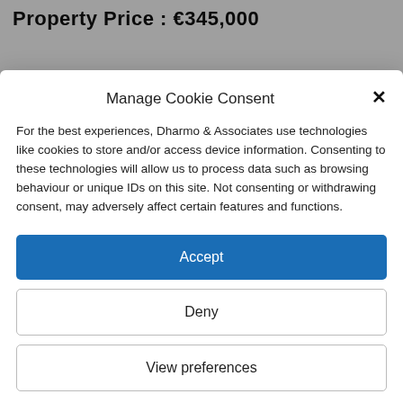Property Price : €345,000
Manage Cookie Consent
For the best experiences, Dharmo & Associates use technologies like cookies to store and/or access device information. Consenting to these technologies will allow us to process data such as browsing behaviour or unique IDs on this site. Not consenting or withdrawing consent, may adversely affect certain features and functions.
Accept
Deny
View preferences
Cookie Policy  Privacy Policy